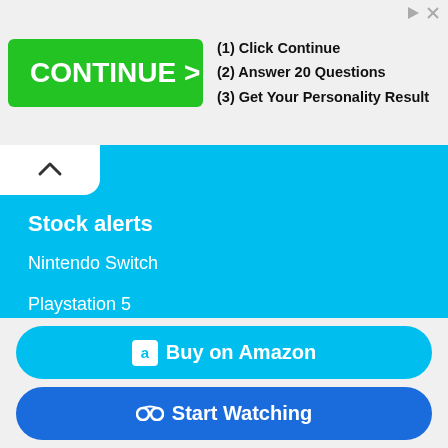[Figure (screenshot): Advertisement banner with green CONTINUE > button and steps: (1) Click Continue, (2) Answer 20 Questions, (3) Get Your Personality Result]
Stock alerts
Nintendo Switch
Playstation 5
Xbox Series X
Xbox Series S
Legal
Terms and conditions
Buy on Amazon
Start Watching